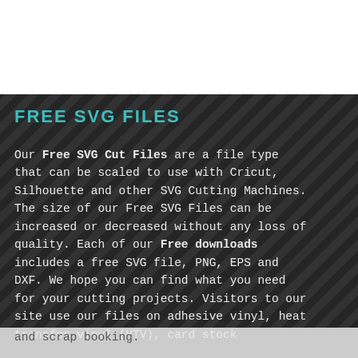FREE SVG FILES
Our Free SVG Cut Files are a file type that can be scaled to use with Cricut, Silhouette and other SVG Cutting Machines. The size of our Free SVG Files can be increased or decreased without any loss of quality. Each of our Free downloads includes a free SVG file, PNG, EPS and DXF. We hope you can find what you need for your cutting projects. Visitors to our site use our files on adhesive vinyl, heat transfer vinyl (HTV), card stock and scrap booking.